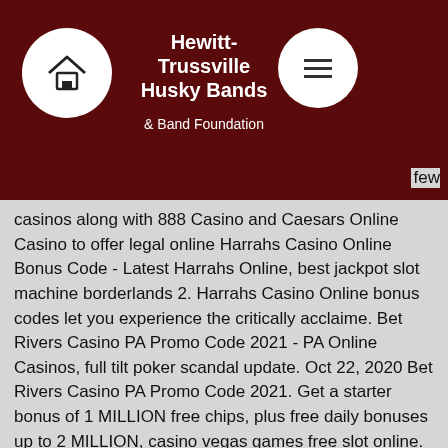Hewitt-Trussville Husky Bands & Band Foundation
few casinos along with 888 Casino and Caesars Online Casino to offer legal online Harrahs Casino Online Bonus Code - Latest Harrahs Online, best jackpot slot machine borderlands 2. Harrahs Casino Online bonus codes let you experience the critically acclaime. Bet Rivers Casino PA Promo Code 2021 - PA Online Casinos, full tilt poker scandal update. Oct 22, 2020 Bet Rivers Casino PA Promo Code 2021. Get a starter bonus of 1 MILLION free chips, plus free daily bonuses up to 2 MILLION, casino vegas games free slot online. Play for the jackpot on free slots like Siberian Storm, Wolf Run, and Crown of Egypt for the ultimate big win! What you can do is to trust your luck and hope it works out for you, and